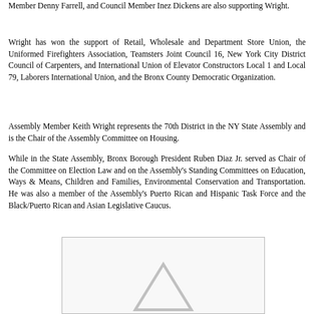Member Denny Farrell, and Council Member Inez Dickens are also supporting Wright.
Wright has won the support of Retail, Wholesale and Department Store Union, the Uniformed Firefighters Association, Teamsters Joint Council 16, New York City District Council of Carpenters, and International Union of Elevator Constructors Local 1 and Local 79, Laborers International Union, and the Bronx County Democratic Organization.
Assembly Member Keith Wright represents the 70th District in the NY State Assembly and is the Chair of the Assembly Committee on Housing.
While in the State Assembly, Bronx Borough President Ruben Diaz Jr. served as Chair of the Committee on Election Law and on the Assembly's Standing Committees on Education, Ways & Means, Children and Families, Environmental Conservation and Transportation. He was also a member of the Assembly's Puerto Rican and Hispanic Task Force and the Black/Puerto Rican and Asian Legislative Caucus.
[Figure (illustration): A partially visible logo or image at the bottom of the page, showing a grey/light triangular or arrow shape, within a bordered box.]